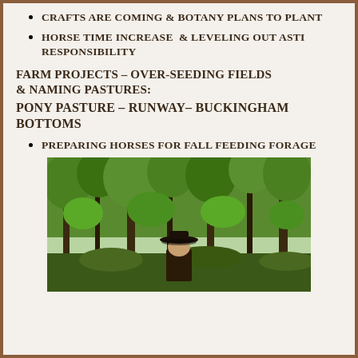CRAFTS ARE COMING & BOTANY PLANS TO PLANT
HORSE TIME INCREASE & LEVELING OUT ASTI RESPONSIBILITY
FARM PROJECTS – OVER-SEEDING FIELDS & NAMING PASTURES:
PONY PASTURE – RUNWAY– BUCKINGHAM BOTTOMS
PREPARING HORSES FOR FALL FEEDING FORAGE
[Figure (photo): Person wearing a black cowboy hat standing in front of dense green pine and deciduous trees in a forested outdoor setting]